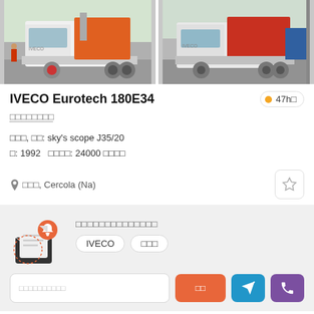[Figure (photo): Two photos of a white IVECO Eurotech 180E34 truck with hook-lift system, shown from the front-left angle in a yard setting]
IVECO Eurotech 180E34
47h
□□□□□□□□
□□□, □□: sky's scope J35/20
□: 1992   □□□□: 24000 □□□□
□□□, Cercola (Na)
□□□□□□□□□□□□□□
IVECO   □□□
□□□□□□□□□□